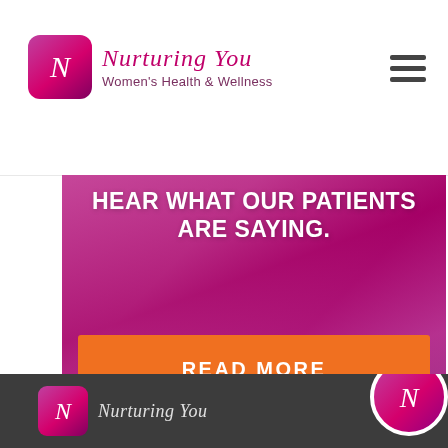[Figure (logo): Nurturing You Women's Health & Wellness logo with stylized N icon in magenta/purple square]
[Figure (photo): Hero section with magenta/pink background showing Hear What Our Patients Are Saying heading and READ MORE orange button]
[Figure (logo): Footer with dark gray background showing small logo icon and circular logo on right]